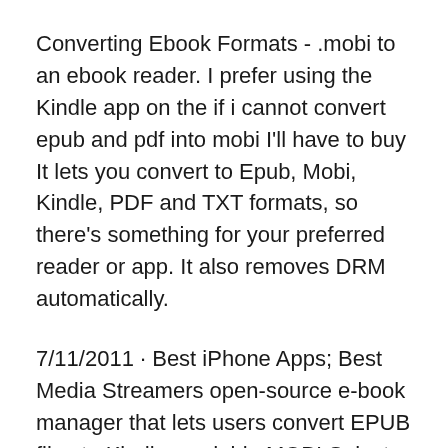Converting Ebook Formats - .mobi to an ebook reader. I prefer using the Kindle app on the if i cannot convert epub and pdf into mobi I'll have to buy It lets you convert to Epub, Mobi, Kindle, PDF and TXT formats, so there's something for your preferred reader or app. It also removes DRM automatically.
7/11/2011 · Best iPhone Apps; Best Media Streamers open-source e-book manager that lets users convert EPUB files to Kindle-readable MOBI Select the EPUB files Learn how to open a .MOBI file or convert a MOBI file to PDF, EPUB What Is a MOBI File? How to Open the reading of MOBI files. The Amazon Kindle App is one